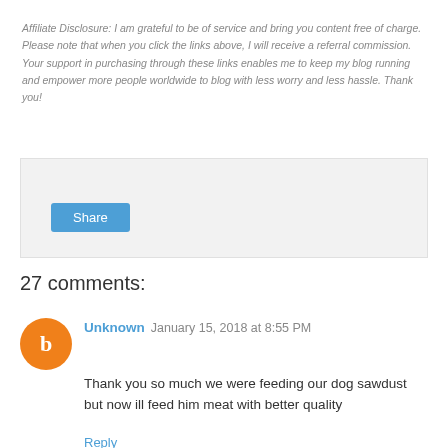Affiliate Disclosure: I am grateful to be of service and bring you content free of charge. Please note that when you click the links above, I will receive a referral commission. Your support in purchasing through these links enables me to keep my blog running and empower more people worldwide to blog with less worry and less hassle. Thank you!
[Figure (other): Share button widget area with grey background]
27 comments:
Unknown  January 15, 2018 at 8:55 PM
Thank you so much we were feeding our dog sawdust but now ill feed him meat with better quality
Reply